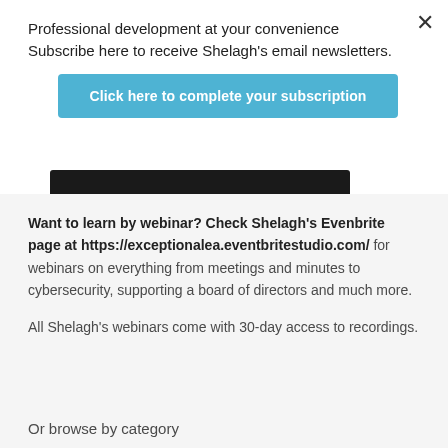Professional development at your convenience Subscribe here to receive Shelagh's email newsletters.
[Figure (screenshot): Blue button with white bold text: Click here to complete your subscription]
Want to learn by webinar? Check Shelagh's Evenbrite page at https://exceptionalea.eventbritestudio.com/ for webinars on everything from meetings and minutes to cybersecurity, supporting a board of directors and much more.
All Shelagh's webinars come with 30-day access to recordings.
Or browse by category